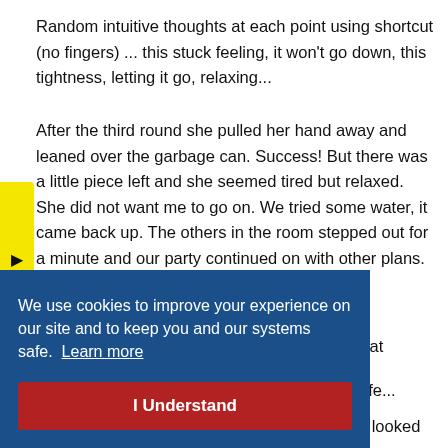Random intuitive thoughts at each point using shortcut (no fingers) ... this stuck feeling, it won't go down, this tightness, letting it go, relaxing...
After the third round she pulled her hand away and leaned over the garbage can. Success! But there was a little piece left and she seemed tired but relaxed. She did not want me to go on. We tried some water, it came back up. The others in the room stepped out for a minute and our party continued on with other plans.
[Figure (screenshot): Cookie consent banner overlay with blue background. Text reads: 'We use cookies to improve your experience on our site and to keep you and our systems safe. Learn more' with a red 'I Understand' button.]
Can you guess? Up came the other part. She looked